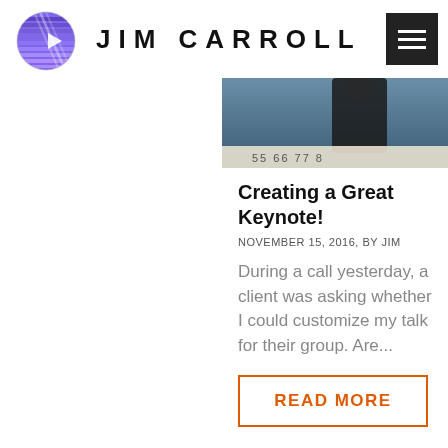[Figure (logo): Jim Carroll website logo: purple/blue globe sphere icon with horizontal lines and a right-pointing arrow, followed by 'JIM CARROLL' text in wide-spaced bold capitals]
[Figure (photo): Partial photo of a person in a dark jacket with a number scale visible (55 66 77 8...)]
Creating a Great Keynote!
NOVEMBER 15, 2016, BY JIM
During a call yesterday, a client was asking whether I could customize my talk for their group. Are...
READ MORE